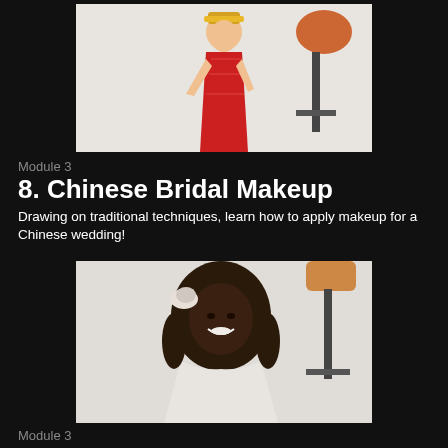[Figure (photo): Chinese bride in traditional red qipao dress with golden headdress, standing in front of a studio light/spotlight on a white background]
Module 3
8. Chinese Bridal Makeup
Drawing on traditional techniques, learn how to apply makeup for a Chinese wedding!
[Figure (photo): Black woman with curly hair and a floral hair accessory, wearing a white dress, smiling at the camera in front of a studio light on a white background]
Module 3